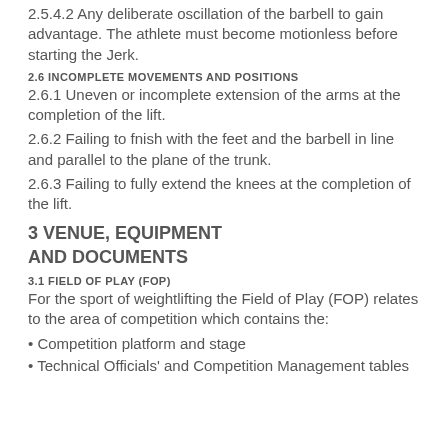2.5.4.2 Any deliberate oscillation of the barbell to gain advantage. The athlete must become motionless before starting the Jerk.
2.6 INCOMPLETE MOVEMENTS AND POSITIONS
2.6.1 Uneven or incomplete extension of the arms at the completion of the lift.
2.6.2 Failing to fnish with the feet and the barbell in line and parallel to the plane of the trunk.
2.6.3 Failing to fully extend the knees at the completion of the lift.
3 VENUE, EQUIPMENT AND DOCUMENTS
3.1 FIELD OF PLAY (FOP)
For the sport of weightlifting the Field of Play (FOP) relates to the area of competition which contains the:
• Competition platform and stage
• Technical Officials' and Competition Management tables